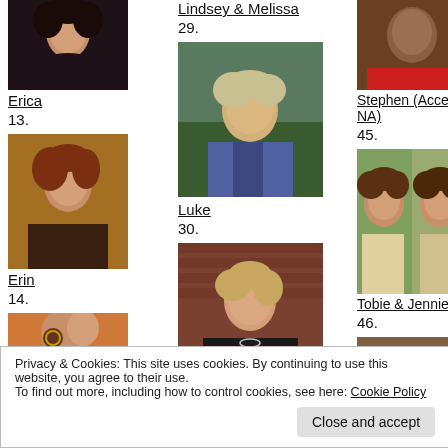[Figure (photo): Photo of person (dark floral top, curly hair) — top left, partial]
Lindsey & Melissa
29.
[Figure (photo): Photo of person in red shirt — top right, partial]
Erica
13.
[Figure (photo): Photo of woman with light hair, denim jacket outdoors]
Stephen (Accepts NA)
45.
[Figure (photo): Photo of woman with reddish-brown hair indoors]
Luke
30.
[Figure (photo): Two women smiling together, outdoors]
Erin
14.
[Figure (photo): Woman with light hair against brick wall]
Tobie & Jennieke
46.
[Figure (photo): Woman with red hair and glasses, partial]
[Figure (photo): Partial photo bottom right]
Privacy & Cookies: This site uses cookies. By continuing to use this website, you agree to their use.
To find out more, including how to control cookies, see here: Cookie Policy
Close and accept